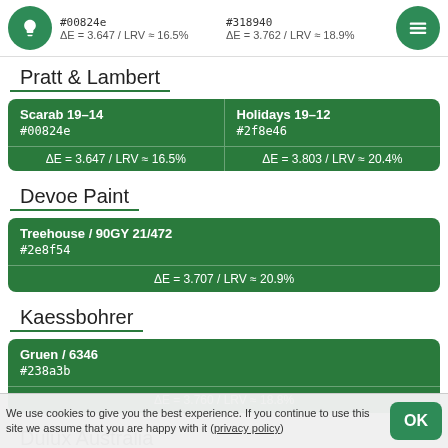#00824e / ΔE = 3.647 / LRV ≈ 16.5%
#318940 / ΔE = 3.762 / LRV ≈ 18.9%
Pratt & Lambert
| Name | Hex | Delta |
| --- | --- | --- |
| Scarab 19-14 | #00824e | ΔE = 3.647 / LRV ≈ 16.5% |
| Holidays 19-12 | #2f8e46 | ΔE = 3.803 / LRV ≈ 20.4% |
Devoe Paint
| Name | Hex | Delta |
| --- | --- | --- |
| Treehouse / 90GY 21/472 | #2e8f54 | ΔE = 3.707 / LRV ≈ 20.9% |
Kaessbohrer
| Name | Hex | Delta |
| --- | --- | --- |
| Gruen / 6346 | #238a3b | ΔE = 3.760 / LRV ≈ 18.8% |
Dulux Australia
We use cookies to give you the best experience. If you continue to use this site we assume that you are happy with it (privacy policy)